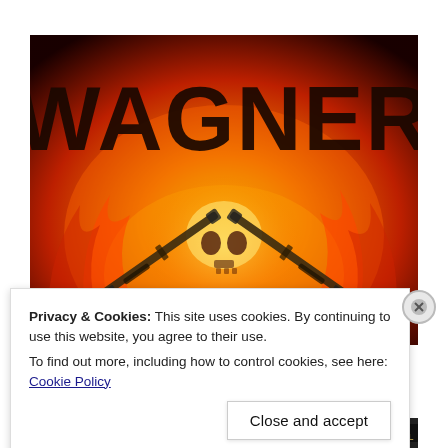[Figure (illustration): Wagner group promotional image: large dark orange/red text 'WAGNER' over a dramatic fire background with crossed assault rifles and a skull motif in the flames]
Privacy & Cookies: This site uses cookies. By continuing to use this website, you agree to their use.
To find out more, including how to control cookies, see here: Cookie Policy
Close and accept